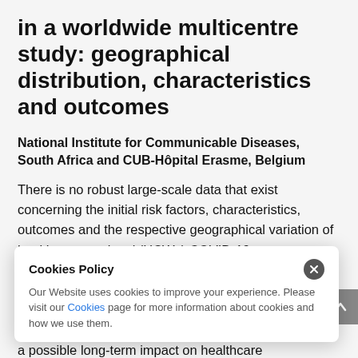in a worldwide multicentre study: geographical distribution, characteristics and outcomes
National Institute for Communicable Diseases, South Africa and CUB-Hôpital Erasme, Belgium
There is no robust large-scale data that exist concerning the initial risk factors, characteristics, outcomes and the respective geographical variation of health care workers' (HCWs) COVID-19 exposure compared to those of the general population. Such findings may aid in implementing national public health policies given the facts that mortality rates among HCWs could paralyze the response to COVID-19 with a possible long-term impact on healthcare
Cookies Policy
Our Website uses cookies to improve your experience. Please visit our Cookies page for more information about cookies and how we use them.